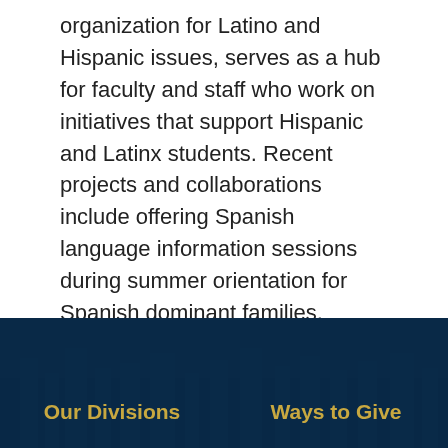organization for Latino and Hispanic issues, serves as a hub for faculty and staff who work on initiatives that support Hispanic and Latinx students. Recent projects and collaborations include offering Spanish language information sessions during summer orientation for Spanish dominant families, Spanish language community forums on DACA, and hosting the UNC System Latino Faculty and Staff annual meeting, among others.
[Original Story by University Communications]
Our Divisions   Ways to Give